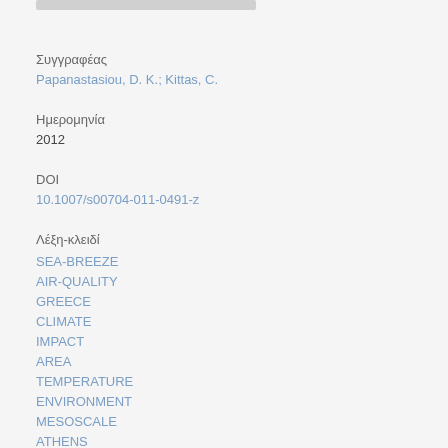Συγγραφέας
Papanastasiou, D. K.; Kittas, C.
Ημερομηνία
2012
DOI
10.1007/s00704-011-0491-z
Λέξη-κλειδί
SEA-BREEZE
AIR-QUALITY
GREECE
CLIMATE
IMPACT
AREA
TEMPERATURE
ENVIRONMENT
MESOSCALE
ATHENS